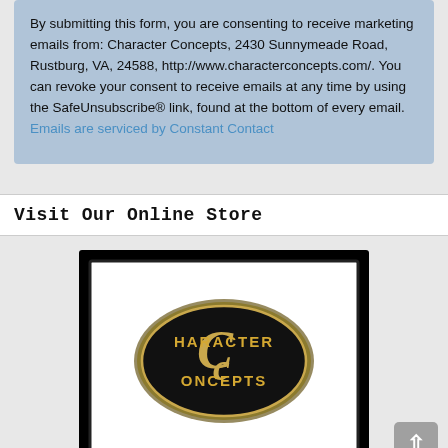By submitting this form, you are consenting to receive marketing emails from: Character Concepts, 2430 Sunnymeade Road, Rustburg, VA, 24588, http://www.characterconcepts.com/. You can revoke your consent to receive emails at any time by using the SafeUnsubscribe® link, found at the bottom of every email. Emails are serviced by Constant Contact
Visit Our Online Store
[Figure (logo): Character Concepts logo: black oval with gold CC monogram and text 'CHARACTER CONCEPTS' on a white background inside a black bordered frame]